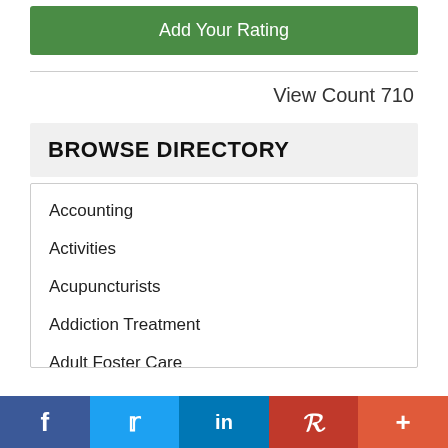Add Your Rating
View Count 710
BROWSE DIRECTORY
Accounting
Activities
Acupuncturists
Addiction Treatment
Adult Foster Care
Advertiser Partners
Advertisers Featured
f  Twitter  in  Pinterest  +